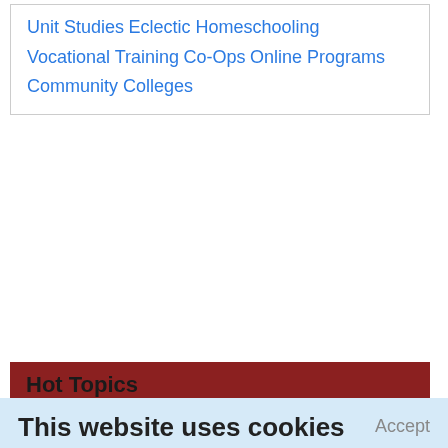Unit Studies
Eclectic Homeschooling
Vocational Training
Co-Ops
Online Programs
Community Colleges
Hot Topics
This website uses cookies
We use cookies to personalize content and ads, to provide social media features and to analyze our traffic. We also share information about your use of our site with our social media, advertising and analytics partners who may combine it with other information that you've provided to them or that they've collected from your use of their services.
Learn More.